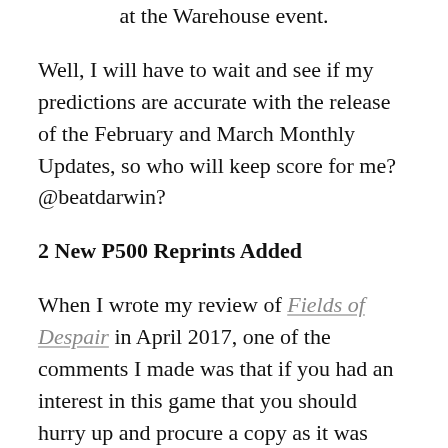at the Warehouse event.
Well, I will have to wait and see if my predictions are accurate with the release of the February and March Monthly Updates, so who will keep score for me? @beatdarwin?
2 New P500 Reprints Added
When I wrote my review of Fields of Despair in April 2017, one of the comments I made was that if you had an interest in this game that you should hurry up and procure a copy as it was sure to sell out. It did and now GMT is offering it up for a reprint along with Space Empires: Close Encounters, 2nd Printing. I will be adding the first expansion to Space Empires and you should